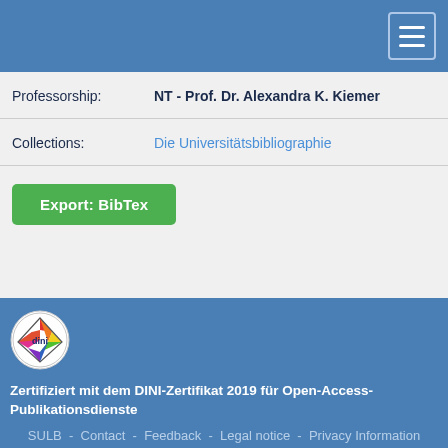| Professorship: | NT - Prof. Dr. Alexandra K. Kiemer |
| Collections: | Die Universitätsbibliographie |
Export: BibTex
[Figure (logo): DINI certification logo — diamond shape with colors red, orange, yellow, green, blue, purple on white circle background with text 'dini']
Zertifiziert mit dem DINI-Zertifikat 2019 für Open-Access-Publikationsdienste
SULB - Contact - Feedback - Legal notice - Privacy Information